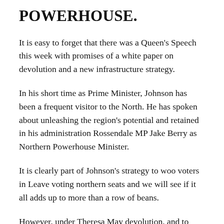POWERHOUSE.
It is easy to forget that there was a Queen's Speech this week with promises of a white paper on devolution and a new infrastructure strategy.
In his short time as Prime Minister, Johnson has been a frequent visitor to the North. He has spoken about unleashing the region's potential and retained in his administration Rossendale MP Jake Berry as Northern Powerhouse Minister.
It is clearly part of Johnson's strategy to woo voters in Leave voting northern seats and we will see if it all adds up to more than a row of beans.
However, under Theresa May devolution, and to some extent the Northern Powerhouse, was off the agenda, so one must live in hope that government